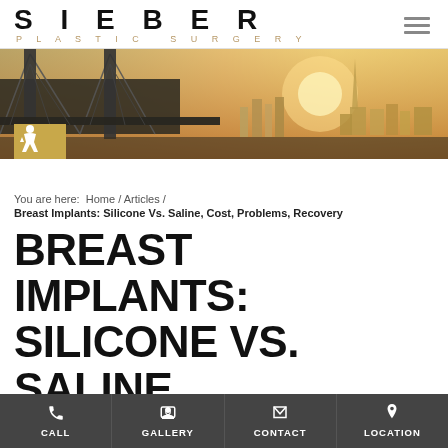SIEBER PLASTIC SURGERY
[Figure (photo): City skyline with bridge (San Francisco Bay Bridge) at sunrise/sunset, golden and warm tone]
You are here:  Home / Articles /
Breast Implants: Silicone Vs. Saline, Cost, Problems, Recovery
BREAST IMPLANTS: SILICONE VS. SALINE, COST, PROBLEMS, RECOVERY
CALL  GALLERY  CONTACT  LOCATION